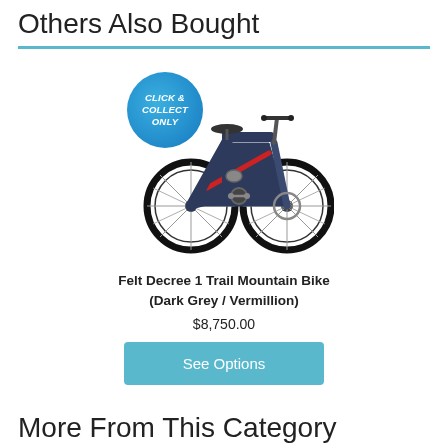Others Also Bought
[Figure (photo): Felt Decree 1 Trail Mountain Bike in Dark Grey / Vermillion color, with a circular blue badge overlay reading CLICK & COLLECT ONLY]
Felt Decree 1 Trail Mountain Bike (Dark Grey / Vermillion)
$8,750.00
See Options
More From This Category